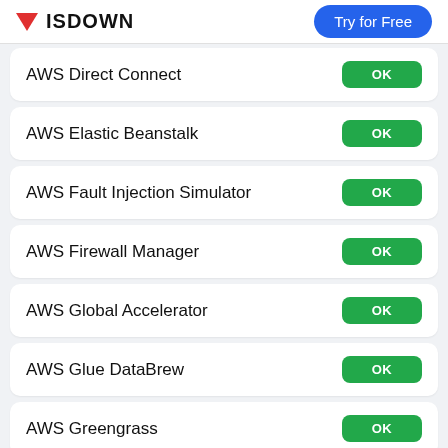ISDOWN | Try for Free
AWS Direct Connect — OK
AWS Elastic Beanstalk — OK
AWS Fault Injection Simulator — OK
AWS Firewall Manager — OK
AWS Global Accelerator — OK
AWS Glue DataBrew — OK
AWS Greengrass — OK
AWS Key Management Service — OK